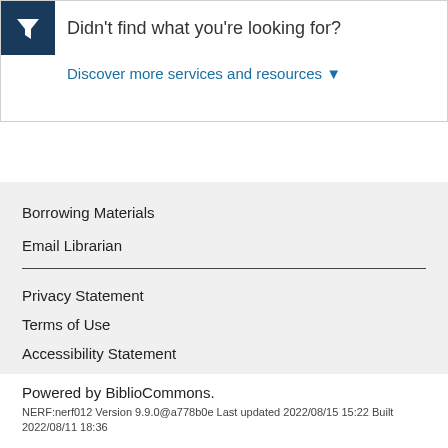Didn't find what you're looking for?
Discover more services and resources ▼
Borrowing Materials
Email Librarian
Privacy Statement
Terms of Use
Accessibility Statement
Powered by BiblioCommons.
NERF:nerf012 Version 9.9.0@a778b0e Last updated 2022/08/15 15:22 Built 2022/08/11 18:36